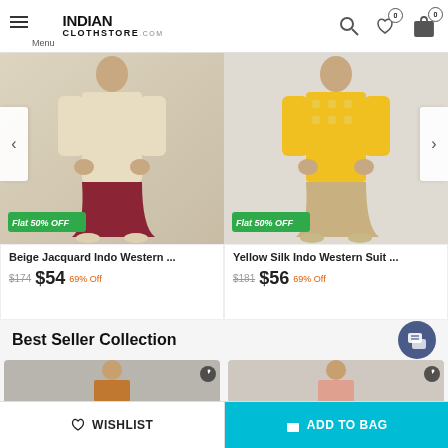Menu | INDIAN CLOTHSTORE.COM
[Figure (photo): Beige Jacquard Indo Western suit with red dhoti pants, male model, Flat 50% OFF badge]
Beige Jacquard Indo Western ...
$174  $54  69% Off
[Figure (photo): Yellow Silk Indo Western suit with beige dhoti pants, male model, Flat 50% OFF badge]
Yellow Silk Indo Western Suit ...
$181  $56  69% Off
Best Seller Collection
[Figure (photo): Best seller product thumbnail left - man in orange/gold traditional wear]
[Figure (photo): Best seller product thumbnail right - man in light pink traditional wear]
WISHLIST
ADD TO BAG